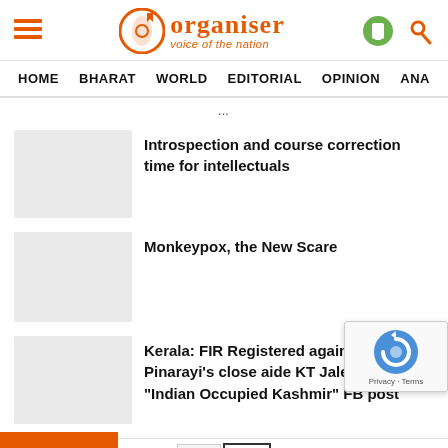Organiser – voice of the nation | HOME | BHARAT | WORLD | EDITORIAL | OPINION | ANA...
Introspection and course correction time for intellectuals
Monkeypox, the New Scare
Kerala: FIR Registered against CM Pinarayi's close aide KT Jaleel for his "Indian Occupied Kashmir" FB post